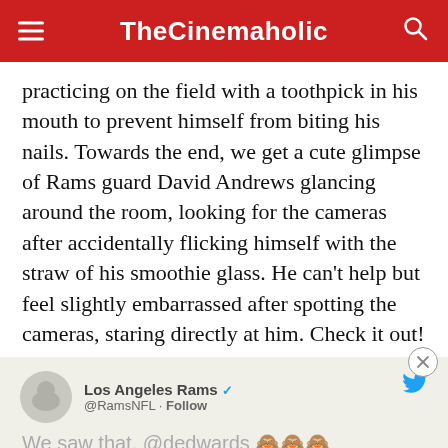TheCinemaholic
practicing on the field with a toothpick in his mouth to prevent himself from biting his nails. Towards the end, we get a cute glimpse of Rams guard David Andrews glancing around the room, looking for the cameras after accidentally flicking himself with the straw of his smoothie glass. He can't help but feel slightly embarrassed after spotting the cameras, staring directly at him. Check it out!
[Figure (screenshot): Tweet from Los Angeles Rams (@RamsNFL) with text 'We saw that, @dedwards' followed by emoji characters. The tweet shows the LA Rams logo as the profile picture and a Twitter bird icon on the right.]